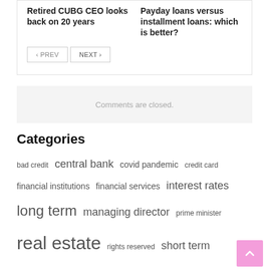Retired CUBG CEO looks back on 20 years
Payday loans versus installment loans: which is better?
< PREV   NEXT >
Comments are closed.
Categories
bad credit  central bank  covid pandemic  credit card  financial institutions  financial services  interest rates  long term  managing director  prime minister  real estate  rights reserved  short term  united states  vice president